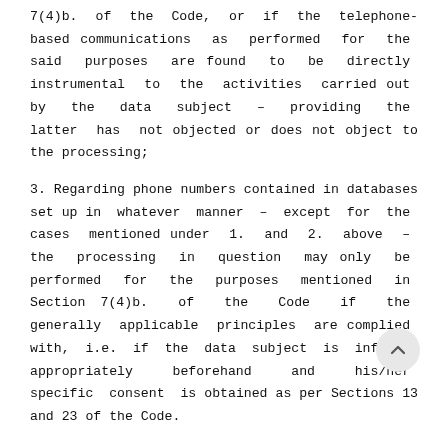7(4)b. of the Code, or if the telephone-based communications as performed for the said purposes are found to be directly instrumental to the activities carried out by the data subject – providing the latter has not objected or does not object to the processing;
3. Regarding phone numbers contained in databases set up in whatever manner – except for the cases mentioned under 1. and 2. above – the processing in question may only be performed for the purposes mentioned in Section 7(4)b. of the Code if the generally applicable principles are complied with, i.e. if the data subject is informed appropriately beforehand and his/her specific consent is obtained as per Sections 13 and 23 of the Code.
A copy of this decision shall be forwarded to the Ministry of Justice – Legislation Publishing Department in order for it